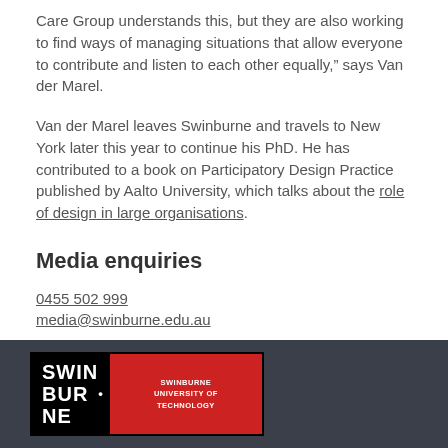Care Group understands this, but they are also working to find ways of managing situations that allow everyone to contribute and listen to each other equally,” says Van der Marel.
Van der Marel leaves Swinburne and travels to New York later this year to continue his PhD. He has contributed to a book on Participatory Design Practice published by Aalto University, which talks about the role of design in large organisations.
Media enquiries
0455 502 999
media@swinburne.edu.au
[Figure (logo): Swinburne University of Technology logo in black and red on dark footer bar]